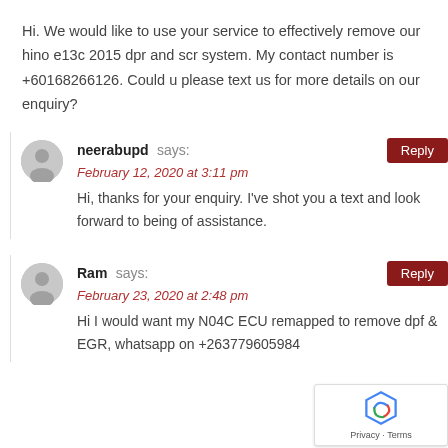Hi. We would like to use your service to effectively remove our hino e13c 2015 dpr and scr system. My contact number is +60168266126. Could u please text us for more details on our enquiry?
neerabupd says: February 12, 2020 at 3:11 pm — Hi, thanks for your enquiry. I've shot you a text and look forward to being of assistance.
Ram says: February 23, 2020 at 2:48 pm — Hi I would want my N04C ECU remapped to remove dpf & EGR, whatsapp on +263779605984